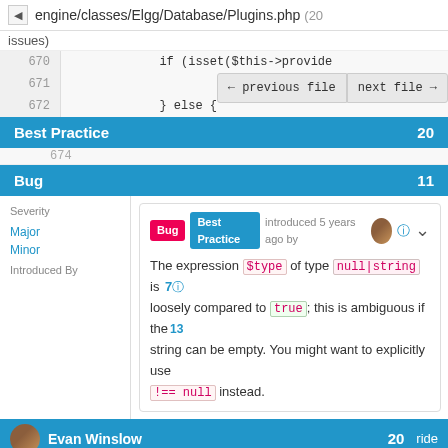engine/classes/Elgg/Database/Plugins.php (20 issues)
670   if (isset($this->provide
671   ← previous file  next file →
672   } else {
Best Practice  20
Bug  11
Severity
Major
Minor
Introduced By
Bug  Best Practice  introduced 5 years ago by   7
The expression $type of type null|string is loosely compared to true; this is ambiguous if the string can be empty. You might want to explicitly use !== null instead.
Evan Winslow  20  ride
677   return $this
678   } else {  6
Steve Clay